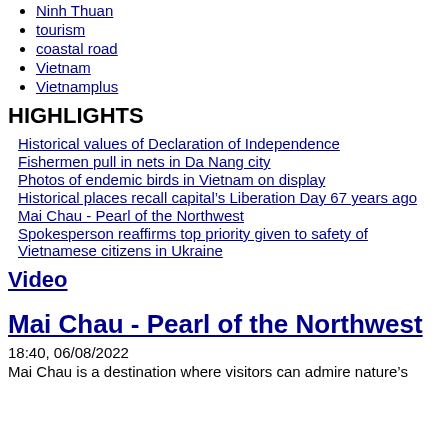Ninh Thuan
tourism
coastal road
Vietnam
Vietnamplus
HIGHLIGHTS
Historical values of Declaration of Independence
Fishermen pull in nets in Da Nang city
Photos of endemic birds in Vietnam on display
Historical places recall capital’s Liberation Day 67 years ago
Mai Chau - Pearl of the Northwest
Spokesperson reaffirms top priority given to safety of Vietnamese citizens in Ukraine
Video
Mai Chau - Pearl of the Northwest
18:40, 06/08/2022
Mai Chau is a destination where visitors can admire nature’s